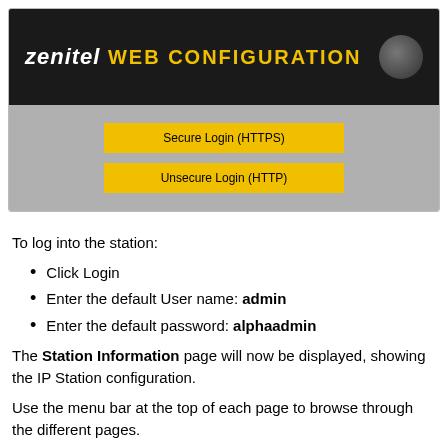[Figure (screenshot): Zenitel Web Configuration login page screenshot showing a dark banner with 'zenitel' logo in italic and 'WEB CONFIGURATION' in yellow, and a gray area with two yellow buttons: 'Secure Login (HTTPS)' and 'Unsecure Login (HTTP)']
To log into the station:
Click Login
Enter the default User name: admin
Enter the default password: alphaadmin
The Station Information page will now be displayed, showing the IP Station configuration.
Use the menu bar at the top of each page to browse through the different pages.